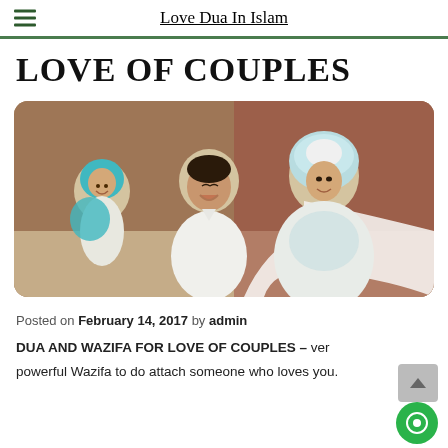Love Dua In Islam
LOVE OF COUPLES
[Figure (photo): A Muslim family portrait showing a man in white clothing laughing, a woman in a light blue hijab and flowing light-colored wedding dress, and a small child in a turquoise hijab, posed together in a formal setting with a staircase in the background.]
Posted on February 14, 2017 by admin
DUA AND WAZIFA FOR LOVE OF COUPLES – very powerful Wazifa to do attach someone who loves you.